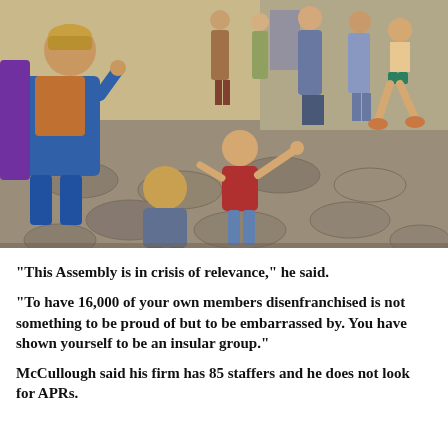[Figure (illustration): A colorful illustrated scene depicting a crowd of people in ancient or medieval attire on a cobblestone street. A child in a red shirt raises their hand/arm, another child is seen from behind, and an adult in robes gestures. Several people walk in the background.]
"This Assembly is in crisis of relevance," he said.
"To have 16,000 of your own members disenfranchised is not something to be proud of but to be embarrassed by. You have shown yourself to be an insular group."
McCullough said his firm has 85 staffers and he does not look for APRs.